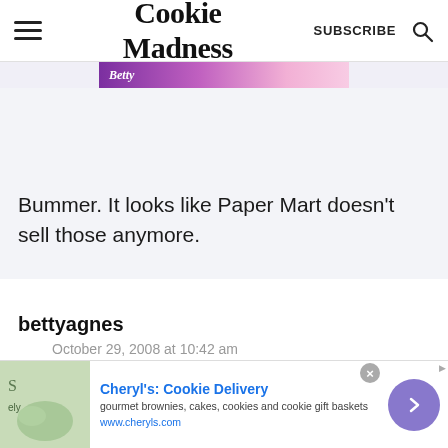Cookie Madness | SUBSCRIBE
[Figure (illustration): Partial advertisement banner with purple and pink gradient colors, partially visible]
Bummer. It looks like Paper Mart doesn't sell those anymore.
bettyagnes
October 29, 2008 at 10:42 am
[Figure (illustration): Advertisement banner for Cheryl's Cookie Delivery - gourmet brownies, cakes, cookies and cookie gift baskets - www.cheryls.com]
Cheryl's: Cookie Delivery
gourmet brownies, cakes, cookies and cookie gift baskets
www.cheryls.com